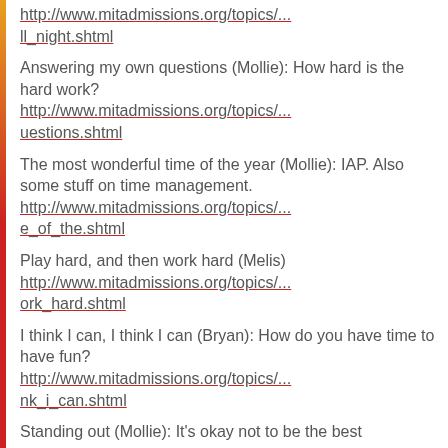http://www.mitadmissions.org/topics/...
ll_night.shtml
Answering my own questions (Mollie): How hard is the hard work?
http://www.mitadmissions.org/topics/...
uestions.shtml
The most wonderful time of the year (Mollie): IAP. Also some stuff on time management.
http://www.mitadmissions.org/topics/...
e_of_the.shtml
Play hard, and then work hard (Melis)
http://www.mitadmissions.org/topics/...
ork_hard.shtml
I think I can, I think I can (Bryan): How do you have time to have fun?
http://www.mitadmissions.org/topics/...
nk_i_can.shtml
Standing out (Mollie): It's okay not to be the best